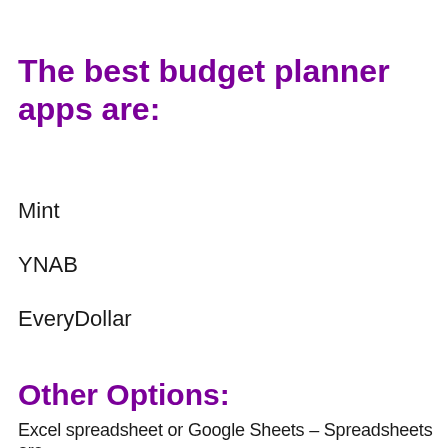The best budget planner apps are:
Mint
YNAB
EveryDollar
Other Options:
Excel spreadsheet or Google Sheets – Spreadsheets are